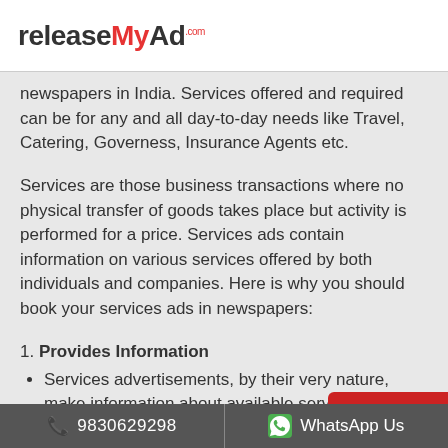releaseMyAd.com
newspapers in India. Services offered and required can be for any and all day-to-day needs like Travel, Catering, Governess, Insurance Agents etc.
Services are those business transactions where no physical transfer of goods takes place but activity is performed for a price. Services ads contain information on various services offered by both individuals and companies. Here is why you should book your services ads in newspapers:
1. Provides Information
Services advertisements, by their very nature, make information about available services accessible to the
9830629298   WhatsApp Us